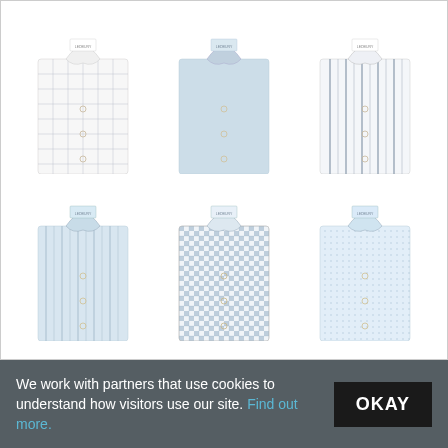[Figure (photo): Six folded dress shirts arranged in a 3x2 grid on white background. Top row: white with blue check pattern, solid light blue, white with fine blue stripes. Bottom row: light blue with fine stripes, blue and white gingham check, light blue with subtle dot/texture pattern. Each shirt has a Ledbury brand label visible at the collar.]
We work with partners that use cookies to understand how visitors use our site. Find out more.